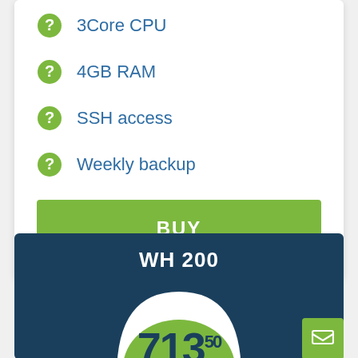3Core CPU
4GB RAM
SSH access
Weekly backup
BUY
WH 200
713.50